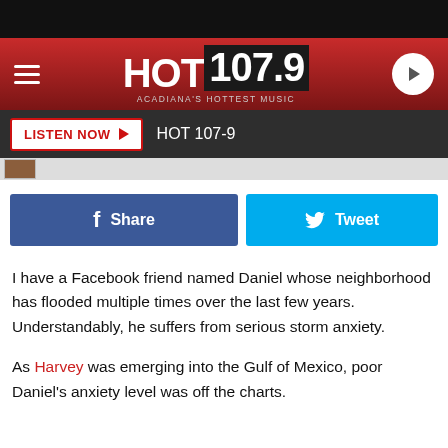[Figure (screenshot): HOT 107.9 radio station website header with red gradient background, hamburger menu icon on left, HOT 107.9 logo in center, play button on right]
LISTEN NOW  HOT 107-9
[Figure (screenshot): Facebook Share button (blue) and Tweet button (blue) side by side]
I have a Facebook friend named Daniel whose neighborhood has flooded multiple times over the last few years. Understandably, he suffers from serious storm anxiety.
As Harvey was emerging into the Gulf of Mexico, poor Daniel's anxiety level was off the charts.